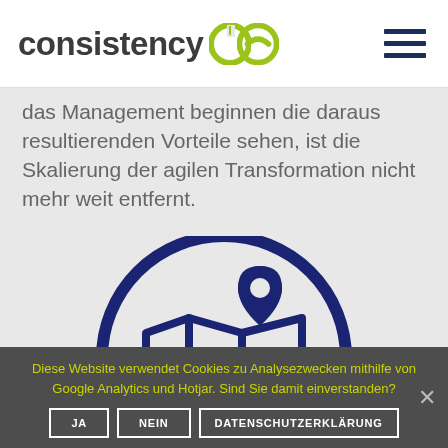consistency
das Management beginnen die daraus resultierenden Vorteile sehen, ist die Skalierung der agilen Transformation nicht mehr weit entfernt.
[Figure (illustration): Dark blue circle icon containing an open map with a location pin marker, on a light gray background]
Diese Website verwendet Cookies zu Analysezwecken mithilfe von Google Analytics und Hotjar. Sind Sie damit einverstanden?
JA   NEIN   DATENSCHUTZERKLÄRUNG